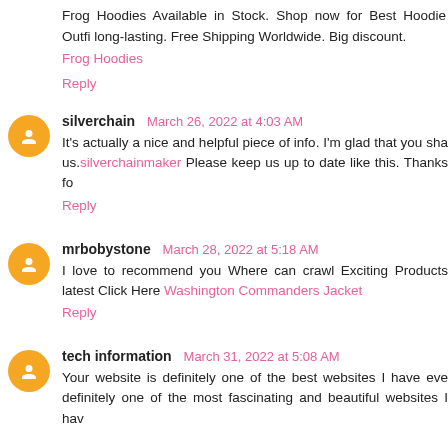Frog Hoodies Available in Stock. Shop now for Best Hoodie Outfit long-lasting. Free Shipping Worldwide. Big discount.
Frog Hoodies
Reply
silverchain March 26, 2022 at 4:03 AM
It's actually a nice and helpful piece of info. I'm glad that you sha us.silverchainmaker Please keep us up to date like this. Thanks fo
Reply
mrbobystone March 28, 2022 at 5:18 AM
I love to recommend you Where can crawl Exciting Products latest Click Here Washington Commanders Jacket
Reply
tech information March 31, 2022 at 5:08 AM
Your website is definitely one of the best websites I have eve definitely one of the most fascinating and beautiful websites I hav